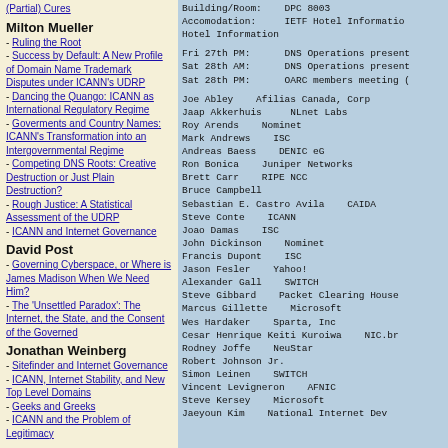(Partial) Cures
Milton Mueller
- Ruling the Root
- Success by Default: A New Profile of Domain Name Trademark Disputes under ICANN's UDRP
- Dancing the Quango: ICANN as International Regulatory Regime
- Goverments and Country Names: ICANN's Transformation into an Intergovernmental Regime
- Competing DNS Roots: Creative Destruction or Just Plain Destruction?
- Rough Justice: A Statistical Assessment of the UDRP
- ICANN and Internet Governance
David Post
- Governing Cyberspace, or Where is James Madison When We Need Him?
- The 'Unsettled Paradox': The Internet, the State, and the Consent of the Governed
Jonathan Weinberg
- Sitefinder and Internet Governance
- ICANN, Internet Stability, and New Top Level Domains
- Geeks and Greeks
- ICANN and the Problem of Legitimacy
Highlights of the ICANNWatch Archive
Building/Room:   DPC 8003
Accomodation:    IETF Hotel Information
Hotel Information

Fri 27th PM:    DNS Operations present
Sat 28th AM:    DNS Operations present
Sat 28th PM:    OARC members meeting (

Joe Abley    Afilias Canada, Corp
Jaap Akkerhuis    NLnet Labs
Roy Arends    Nominet
Mark Andrews    ISC
Andreas Baess    DENIC eG
Ron Bonica    Juniper Networks
Brett Carr    RIPE NCC
Bruce Campbell
Sebastian E. Castro Avila    CAIDA
Steve Conte    ICANN
Joao Damas    ISC
John Dickinson    Nominet
Francis Dupont    ISC
Jason Fesler    Yahoo!
Alexander Gall    SWITCH
Steve Gibbard    Packet Clearing House
Marcus Gillette    Microsoft
Wes Hardaker    Sparta, Inc
Cesar Henrique Keiti Kuroiwa    NIC.br
Rodney Joffe    NeuStar
Robert Johnson Jr.
Simon Leinen    SWITCH
Vincent Levigneron    AFNIC
Steve Kersey    Microsoft
Jaeyoun Kim    National Internet Dev